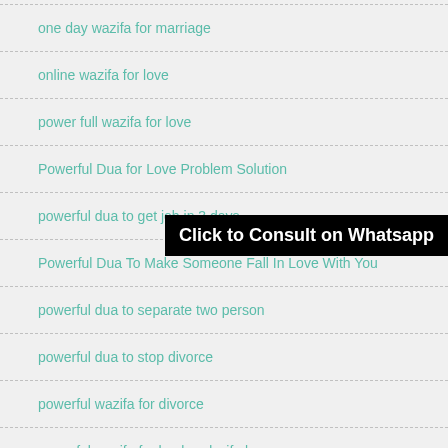one day wazifa for marriage
online wazifa for love
power full wazifa for love
Powerful Dua for Love Problem Solution
powerful dua to get job in 3 days
Powerful Dua To Make Someone Fall In Love With You
powerful dua to separate two person
powerful dua to stop divorce
powerful wazifa for divorce
powerful wazifa for husband wife love